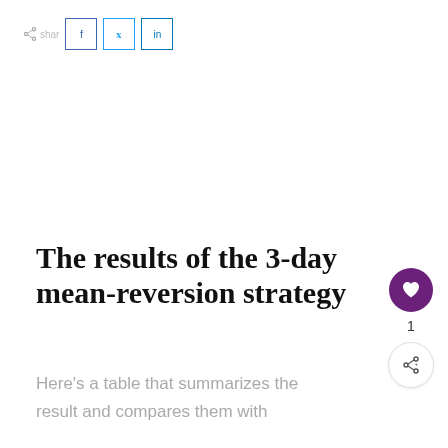Share f tw in
The results of the 3-day mean-reversion strategy
Here's a table that summarizes the result and compares them with